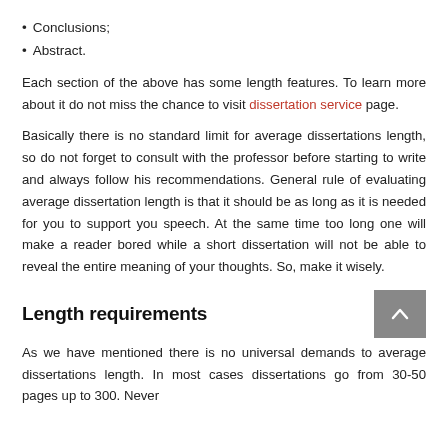Conclusions;
Abstract.
Each section of the above has some length features. To learn more about it do not miss the chance to visit dissertation service page.
Basically there is no standard limit for average dissertations length, so do not forget to consult with the professor before starting to write and always follow his recommendations. General rule of evaluating average dissertation length is that it should be as long as it is needed for you to support you speech. At the same time too long one will make a reader bored while a short dissertation will not be able to reveal the entire meaning of your thoughts. So, make it wisely.
Length requirements
As we have mentioned there is no universal demands to average dissertations length. In most cases dissertations go from 30-50 pages up to 300. Never